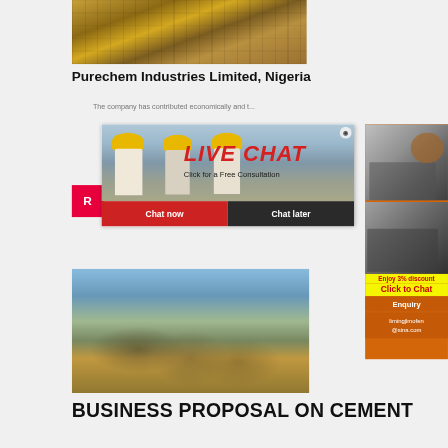[Figure (photo): Heavy construction machinery (bulldozer/crawler) in a sandy outdoor environment, viewed from low angle]
Purechem Industries Limited, Nigeria
The company has contributed economically and t...
[Figure (photo): Live chat popup overlay showing workers in yellow hard hats with text LIVE CHAT, Click for a Free Consultation, with Chat now and Chat later buttons]
[Figure (photo): Industrial crushing/screening plant facility with conveyor belts in an outdoor setting]
[Figure (photo): Right sidebar showing orange background with mining/crushing machine equipment images]
Enjoy 3% discount
Click to Chat
Enquiry
limingjlmofen@sina.com
BUSINESS PROPOSAL ON CEMENT